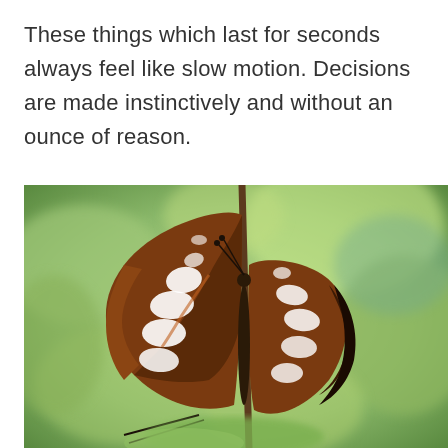These things which last for seconds always feel like slow motion. Decisions are made instinctively and without an ounce of reason.
[Figure (photo): Close-up photograph of a brown and white patterned butterfly perched on a thin brown stem, with a blurred green foliage background.]